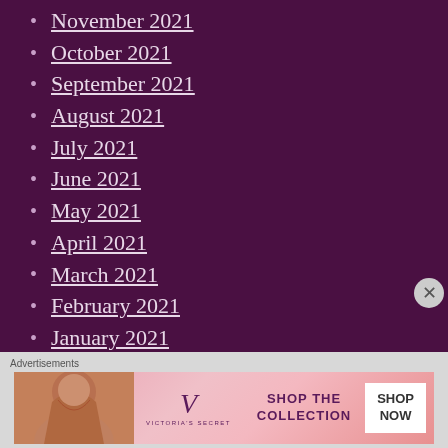November 2021
October 2021
September 2021
August 2021
July 2021
June 2021
May 2021
April 2021
March 2021
February 2021
January 2021
December 2020
November 2020
October 2020
Advertisements
[Figure (screenshot): Victoria's Secret advertisement banner showing model with SHOP THE COLLECTION text and SHOP NOW button]